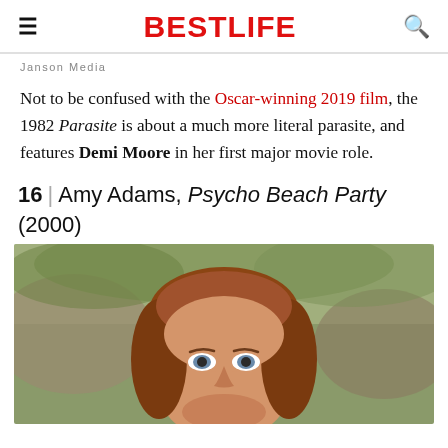BESTLIFE
Janson Media
Not to be confused with the Oscar-winning 2019 film, the 1982 Parasite is about a much more literal parasite, and features Demi Moore in her first major movie role.
16 | Amy Adams, Psycho Beach Party (2000)
[Figure (photo): A young woman with reddish-auburn hair and blue eyes, close-up portrait, outdoor background with trees and rocks]